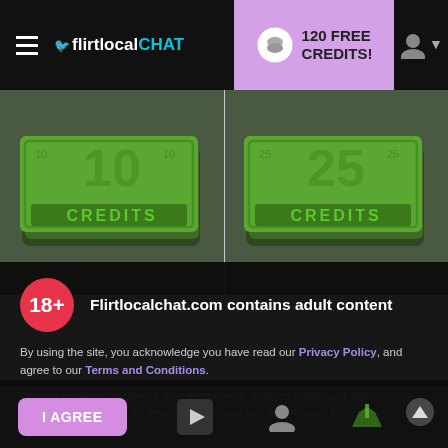flirtlocalCHAT — 120 FREE CREDITS!
[Figure (illustration): 10 Credits money bill illustration on dark green background]
10 Credit Tip
Cost: 10
VIP Cost: 10
[Figure (illustration): 25 Credits money bill illustration on dark green background]
25 Credit Tip
Cost: 25
VIP Cost: 25
[Figure (infographic): 18+ red circle badge with adult content warning overlay]
Flirtlocalchat.com contains adult content
By using the site, you acknowledge you have read our Privacy Policy, and agree to our Terms and Conditions.
We use cookies to optimize your experience, analyze traffic, and deliver more personalized service. To learn more, please see our Privacy Policy.
I AGREE